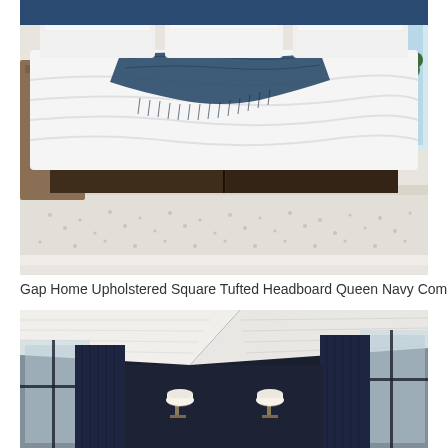[Figure (photo): Bedroom photo showing a bed with white bedding and a dark navy/teal throw blanket draped across it, with a patterned rug on the floor and a dark wooden bed frame visible at the bottom. Nightstand and window visible in background.]
Gap Home Upholstered Square Tufted Headboard Queen Navy Com
[Figure (photo): Interior bedroom photo showing a dark navy upholstered wall/headboard with a vaulted/angled white shiplap ceiling, dark navy curtains on either side of a window, and two white wall sconce lights mounted on the navy wall.]